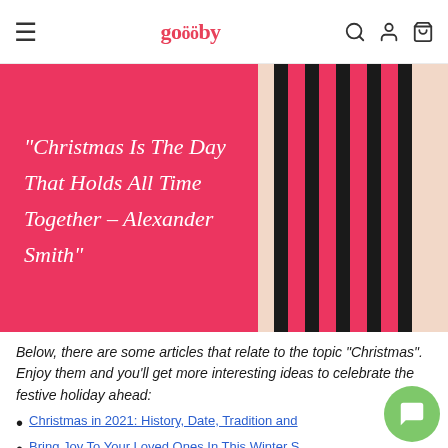goseby [navigation with search, account, cart icons]
[Figure (illustration): Red/pink hero banner with white italic script quote reading: "Christmas Is The Day That Holds All Time Together - Alexander Smith" on the left, and vertical black stripes on cream/red background on the right.]
Below, there are some articles that relate to the topic "Christmas". Enjoy them and you'll get more interesting ideas to celebrate the festive holiday ahead:
Christmas in 2021: History, Date, Tradition and...
Bring Joy To Your Loved Ones In This Winter S... With These Christmas Gift Ideas
How to Celebrate Christmas in 2021 | A Step-by-step...